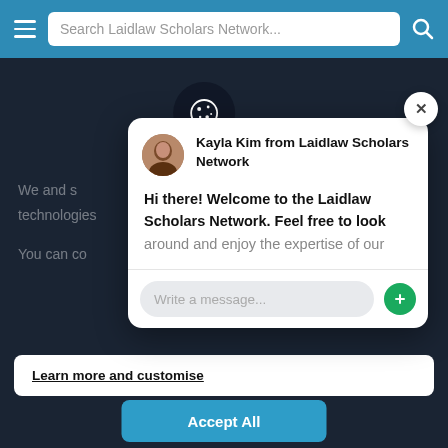[Figure (screenshot): Search bar with hamburger menu, search input reading 'Search Laidlaw Scholars Network...' and search icon, on blue background]
[Figure (screenshot): Dark navy background web page with cookie consent overlay and chat widget popup from Kayla Kim at Laidlaw Scholars Network]
Kayla Kim from Laidlaw Scholars Network
Hi there! Welcome to the Laidlaw Scholars Network. Feel free to look around and enjoy the expertise of our
Write a message...
Learn more and customise
Accept All